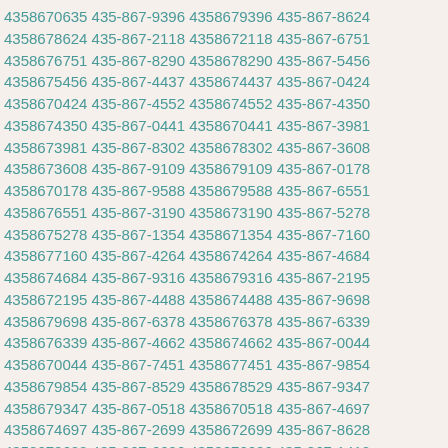4358670635 435-867-9396 4358679396 435-867-8624 4358678624 435-867-2118 4358672118 435-867-6751 4358676751 435-867-8290 4358678290 435-867-5456 4358675456 435-867-4437 4358674437 435-867-0424 4358670424 435-867-4552 4358674552 435-867-4350 4358674350 435-867-0441 4358670441 435-867-3981 4358673981 435-867-8302 4358678302 435-867-3608 4358673608 435-867-9109 4358679109 435-867-0178 4358670178 435-867-9588 4358679588 435-867-6551 4358676551 435-867-3190 4358673190 435-867-5278 4358675278 435-867-1354 4358671354 435-867-7160 4358677160 435-867-4264 4358674264 435-867-4684 4358674684 435-867-9316 4358679316 435-867-2195 4358672195 435-867-4488 4358674488 435-867-9698 4358679698 435-867-6378 4358676378 435-867-6339 4358676339 435-867-4662 4358674662 435-867-0044 4358670044 435-867-7451 4358677451 435-867-9854 4358679854 435-867-8529 4358678529 435-867-9347 4358679347 435-867-0518 4358670518 435-867-4697 4358674697 435-867-2699 4358672699 435-867-8628 4358678628 435-867-6606 4358676606 435-867-1412 4358671412 435-867-0860 4358670860 435-867-4318 4358674318 435-867-7769 43586777769 435-867-9654 4358679654 435-867-4384 4358674384 435-867-1994 4358671994 435-867-5475 4358675475 435-867-2610 4358672610 435-867-1391 4358671391 435-867-7394 4358677394 435-867-9637 4358679637 435-867-3170 4358673170 435-867-6036 4358676036 435-867-1434 4358671434 435-867-7750 4358677750 435-867-5540 4358675540 435-867-7307 4358677307 435-867-5859 4358675859 435-867-6429 4358676429 435-867-1590 4358671590 435-867-4205 4358674205 435-867-3080 4358673080 435-867-0100